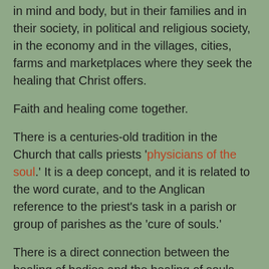in mind and body, but in their families and in their society, in political and religious society, in the economy and in the villages, cities, farms and marketplaces where they seek the healing that Christ offers.
Faith and healing come together.
There is a centuries-old tradition in the Church that calls priests 'physicians of the soul.' It is a deep concept, and it is related to the word curate, and to the Anglican reference to the priest's task in a parish or group of parishes as the 'cure of souls.'
There is a direct connection between the healing of bodies and the healing of souls.
Watching the broad smiles on people who received their second Covid-19 vaccine, I realised they had been vaccinated not just against the physical but also against the psychological fears that come with the virus, and that are a pandemic in themselves.
The...